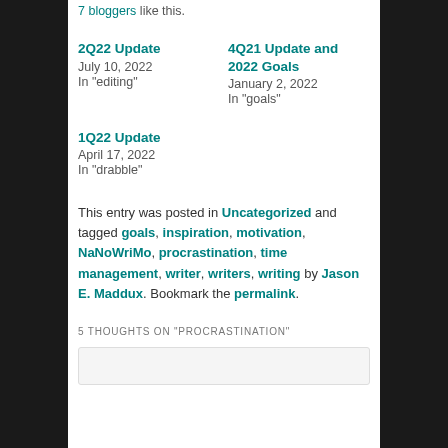7 bloggers like this.
2Q22 Update
July 10, 2022
In "editing"
4Q21 Update and 2022 Goals
January 2, 2022
In "goals"
1Q22 Update
April 17, 2022
In "drabble"
This entry was posted in Uncategorized and tagged goals, inspiration, motivation, NaNoWriMo, procrastination, time management, writer, writers, writing by Jason E. Maddux. Bookmark the permalink.
5 THOUGHTS ON "PROCRASTINATION"